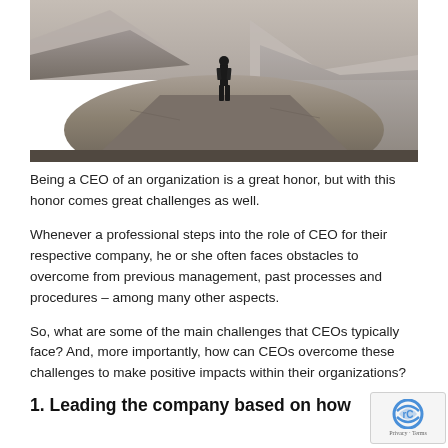[Figure (photo): A person in a dark suit standing on top of a rocky mountain peak with mountainous landscape in the background]
Being a CEO of an organization is a great honor, but with this honor comes great challenges as well.
Whenever a professional steps into the role of CEO for their respective company, he or she often faces obstacles to overcome from previous management, past processes and procedures – among many other aspects.
So, what are some of the main challenges that CEOs typically face? And, more importantly, how can CEOs overcome these challenges to make positive impacts within their organizations?
1. Leading the company based on how